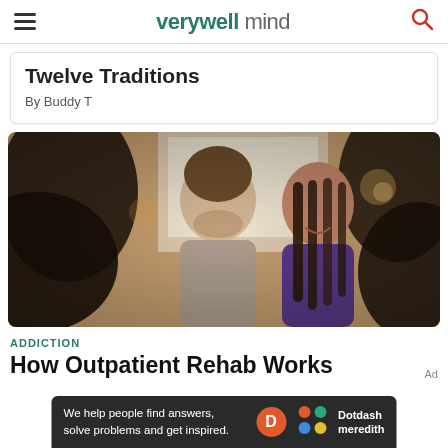verywell mind
Twelve Traditions
By Buddy T
[Figure (photo): Group of people in a support group or rehab session, smiling and engaged in discussion. A bearded man in a gray shirt and a woman with long braids in a purple top are visible among others in a warm-lit room.]
ADDICTION
How Outpatient Rehab Works
We help people find answers, solve problems and get inspired. Dotdash meredith